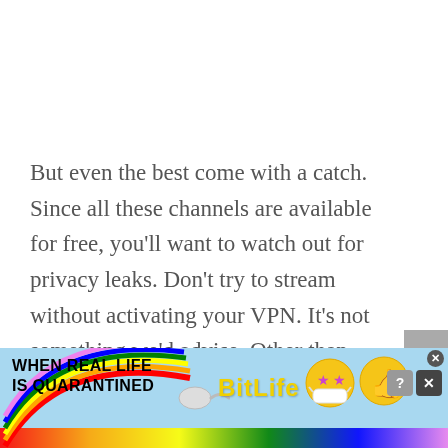But even the best come with a catch. Since all these channels are available for free, you'll want to watch out for privacy leaks. Don't try to stream without activating your VPN. It's not something we'd advise. Other than that, Lepto Sports is a marvel for avid sports lovers.
[Figure (other): Advertisement banner for BitLife mobile game showing rainbow graphic, 'WHEN REAL LIFE IS QUARANTINED' tagline, sperm icon, BitLife logo in yellow text, emoji character icons, and close buttons on a light blue sky background.]